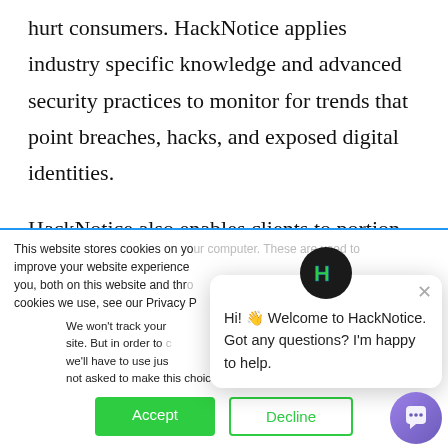hurt consumers. HackNotice applies industry specific knowledge and advanced security practices to monitor for trends that point breaches, hacks, and exposed digital identities.
HackNotice also enables clients to portion cut notices with their friend, family, and collogues to help increase awareness around alleged hacks, breaches,
This website stores cookies on your computer. These are used to improve your website experience you, both on this website and through cookies we use, see our Privacy P
We won't track your site. But in order to we'll have to use jus not asked to make this choice again.
[Figure (screenshot): Cookie consent banner with Accept (green) and Decline (outlined) buttons, and a chat popup from HackNotice with greeting message and H logo]